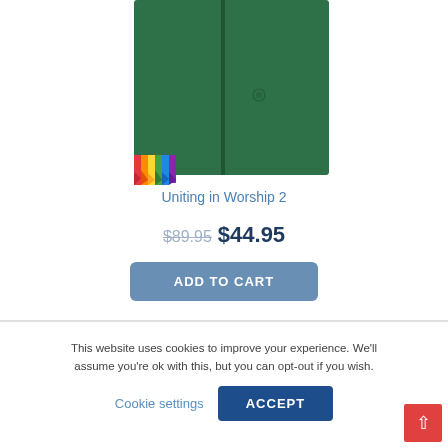[Figure (photo): Green hardcover book titled 'Uniting in Worship 2' with a rainbow ribbon bookmark, shown from the front cover.]
Uniting in Worship 2
$89.95  $44.95
ADD TO CART
This website uses cookies to improve your experience. We'll assume you're ok with this, but you can opt-out if you wish.
Cookie settings
ACCEPT